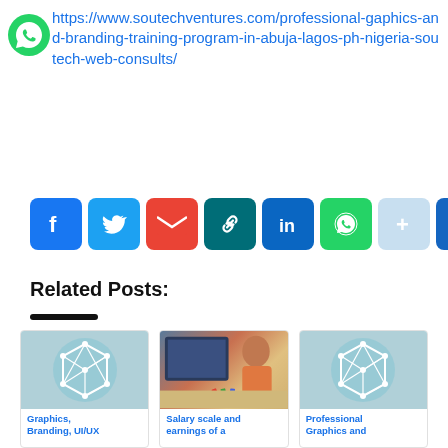https://www.soutechventures.com/professional-graphics-and-branding-training-program-in-abuja-lagos-ph-nigeria-soutech-web-consults/
[Figure (infographic): Row of social media share buttons: Facebook (blue), Twitter (light blue), Gmail (red), Chain link (teal), LinkedIn (blue), WhatsApp (green), Plus (light blue/grey), Plus (dark blue)]
Related Posts:
[Figure (illustration): Card 1: placeholder circle icon with geometric network graphic on teal background. Text: Graphics, Branding, UI/UX]
[Figure (photo): Card 2: photo of woman working at computer with design software. Text: Salary scale and earnings of a]
[Figure (illustration): Card 3: placeholder circle icon with geometric network graphic on teal background. Text: Professional Graphics and]